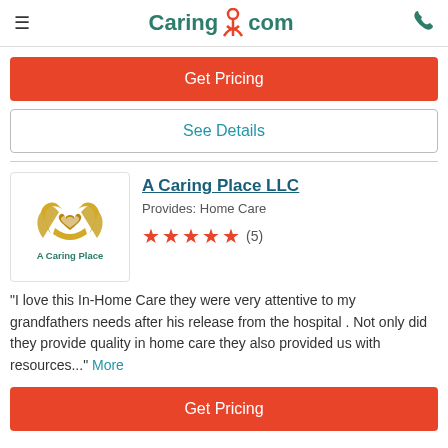Caring.com
Get Pricing
See Details
A Caring Place LLC
Provides: Home Care
★★★★★ (5)
"I love this In-Home Care they were very attentive to my grandfathers needs after his release from the hospital . Not only did they provide quality in home care they also provided us with resources..." More
Get Pricing